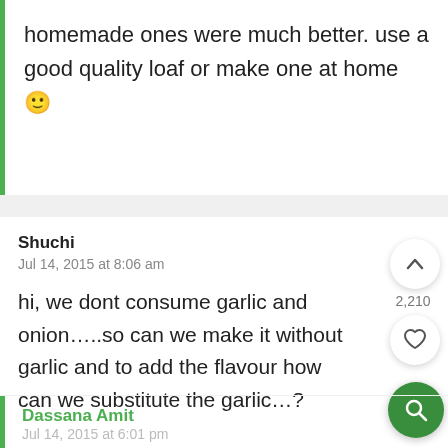homemade ones were much better. use a good quality loaf or make one at home 🙂
Shuchi
Jul 14, 2015 at 8:06 am

hi, we dont consume garlic and onion…..so can we make it without garlic and to add the flavour how can we substitute the garlic…?
Dassana Amit
Jul 14, 2015 at 6:01 pm